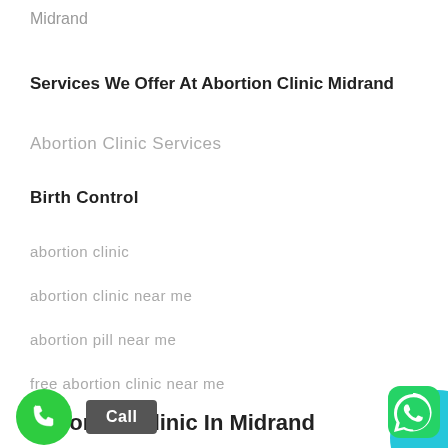Midrand
Services We Offer At Abortion Clinic Midrand
Abortion Clinic Services
Birth Control
abortion clinic
abortion clinic near me
abortion pill near me
free abortion clinic near me
Abortion Clinic In Midrand
[Figure (other): Green phone call button circle with phone handset icon, and a grey 'Call' button label next to it. WhatsApp green rounded square icon at bottom right.]